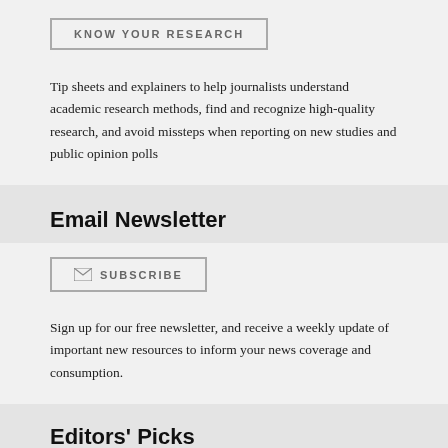KNOW YOUR RESEARCH
Tip sheets and explainers to help journalists understand academic research methods, find and recognize high-quality research, and avoid missteps when reporting on new studies and public opinion polls
Email Newsletter
SUBSCRIBE
Sign up for our free newsletter, and receive a weekly update of important new resources to inform your news coverage and consumption.
Editors' Picks